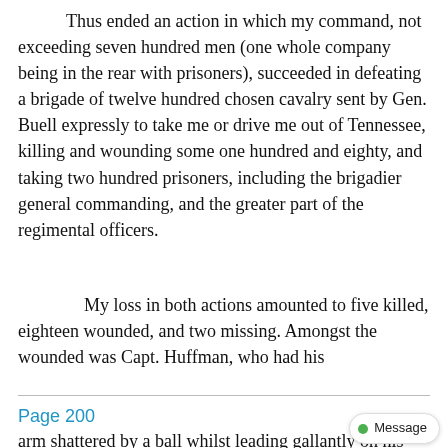Thus ended an action in which my command, not exceeding seven hundred men (one whole company being in the rear with prisoners), succeeded in defeating a brigade of twelve hundred chosen cavalry sent by Gen. Buell expressly to take me or drive me out of Tennessee, killing and wounding some one hundred and eighty, and taking two hundred prisoners, including the brigadier general commanding, and the greater part of the regimental officers.
My loss in both actions amounted to five killed, eighteen wounded, and two missing. Amongst the wounded was Capt. Huffman, who had his
Page 200
arm shattered by a ball whilst leading gallantly on his brave Texas Rangers, a small body of men commanded by Maj. Gano, of whom I cannot speak too highly, as